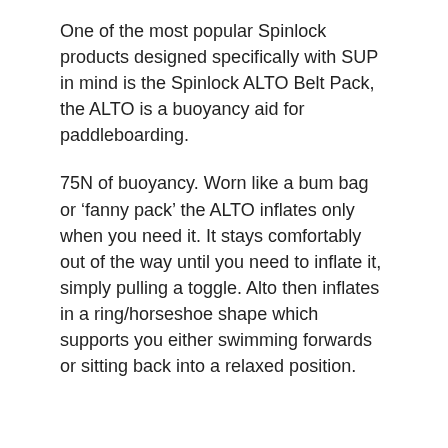One of the most popular Spinlock products designed specifically with SUP in mind is the Spinlock ALTO Belt Pack, the ALTO is a buoyancy aid for paddleboarding.
75N of buoyancy. Worn like a bum bag or ‘fanny pack’ the ALTO inflates only when you need it. It stays comfortably out of the way until you need to inflate it, simply pulling a toggle. Alto then inflates in a ring/horseshoe shape which supports you either swimming forwards or sitting back into a relaxed position.
ISO12402-5 approved as a 50N Buoyancy Aid and ISO12402-6 approved as a Special Purpose Buoyancy Aid, the ALTO is approved for adults and teenagers aged over 16 years weighing over 40kg.